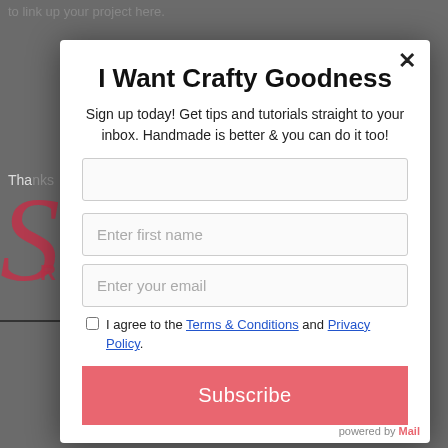[Figure (screenshot): Dark gray blurred webpage background with partial text and decorative red script letter visible beneath the modal overlay]
I Want Crafty Goodness
Sign up today! Get tips and tutorials straight to your inbox. Handmade is better & you can do it too!
Enter first name
Enter your email
I agree to the Terms & Conditions and Privacy Policy.
Subscribe
powered by Mail